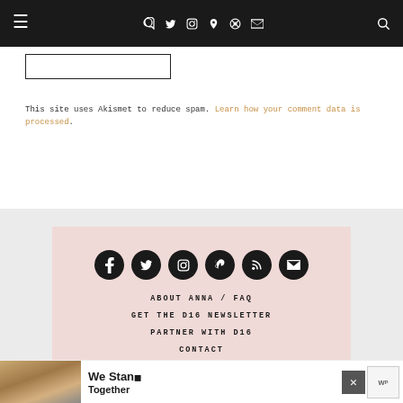≡  f  𝕏  ◻  ⊕  ⊾  ✉  🔍
[Figure (other): Empty rectangular input/comment box with black border]
This site uses Akismet to reduce spam. Learn how your comment data is processed.
[Figure (infographic): Pink card with dark circular social media icons (Facebook, Twitter, Instagram, Pinterest, RSS, Email) and navigation links: ABOUT ANNA / FAQ, GET THE D16 NEWSLETTER, PARTNER WITH D16, CONTACT]
ABOUT ANNA / FAQ
GET THE D16 NEWSLETTER
PARTNER WITH D16
CONTACT
[Figure (photo): Advertisement banner showing group of people from behind with text 'We Stand Together' and WordPress logo]